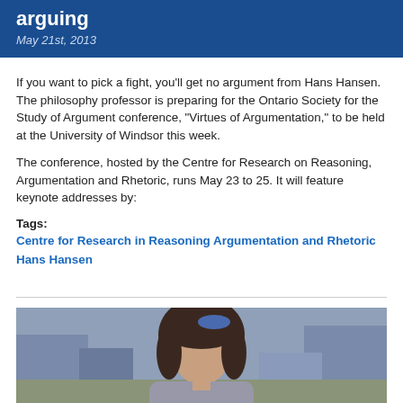arguing
May 21st, 2013
If you want to pick a fight, you'll get no argument from Hans Hansen. The philosophy professor is preparing for the Ontario Society for the Study of Argument conference, "Virtues of Argumentation," to be held at the University of Windsor this week.
The conference, hosted by the Centre for Research on Reasoning, Argumentation and Rhetoric, runs May 23 to 25. It will feature keynote addresses by:
Tags:
Centre for Research in Reasoning Argumentation and Rhetoric
Hans Hansen
[Figure (photo): Photo of a woman with dark hair outdoors with buildings in background]